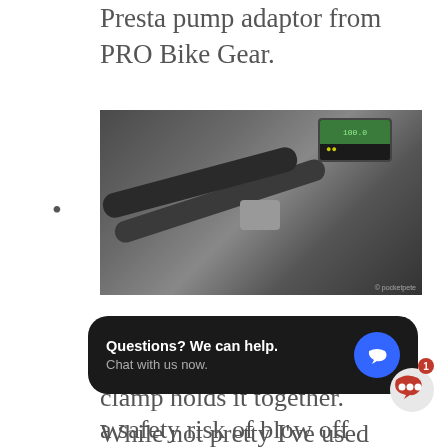Presta pump adaptor from PRO Bike Gear.
[Figure (photo): Close-up photo of a digital pressure gauge with hose and barb fitting connector on a dark background]
At the inflator the hose is slid over a barb fitting and a hose clamp holds it together. While not pretty I've used similar for well over a decade with good results. But just a word of warning, hose clamps aren't
[Figure (screenshot): Chat widget overlay: 'Questions? We can help. Chat with us now.' with blue chat icon]
a safety risk of blow off